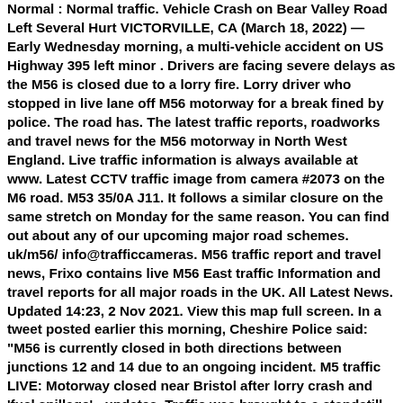Normal : Normal traffic. Vehicle Crash on Bear Valley Road Left Several Hurt VICTORVILLE, CA (March 18, 2022) — Early Wednesday morning, a multi-vehicle accident on US Highway 395 left minor . Drivers are facing severe delays as the M56 is closed due to a lorry fire. Lorry driver who stopped in live lane off M56 motorway for a break fined by police. The road has. The latest traffic reports, roadworks and travel news for the M56 motorway in North West England. Live traffic information is always available at www. Latest CCTV traffic image from camera #2073 on the M6 road. M53 35/0A J11. It follows a similar closure on the same stretch on Monday for the same reason. You can find out about any of our upcoming major road schemes. uk/m56/ info@trafficcameras. M56 traffic report and travel news, Frixo contains live M56 East traffic Information and travel reports for all major roads in the UK. All Latest News. Updated 14:23, 2 Nov 2021. View this map full screen. In a tweet posted earlier this morning, Cheshire Police said: "M56 is currently closed in both directions between junctions 12 and 14 due to an ongoing incident. M5 traffic LIVE: Motorway closed near Bristol after lorry crash and 'fuel spillage' - updates. Traffic was brought to a standstill on a section of the busy M56 motorway this morning because of concerns for safety of a man on a bridge. 45pm on Thursday . Click to show all the subcategories . Follow live updates about Storm Eunice. Use the search facility in the top right corner to find...